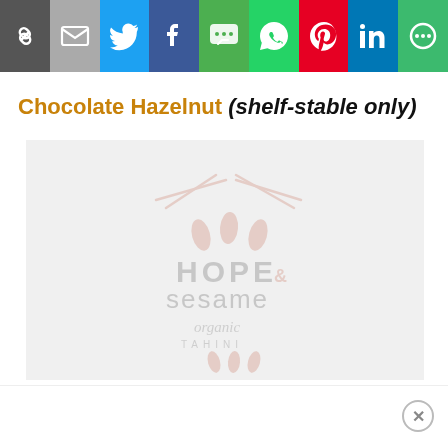[Figure (screenshot): Social media share button bar with icons for link, email, Twitter, Facebook, SMS, WhatsApp, Pinterest, LinkedIn, and More]
Chocolate Hazelnut (shelf-stable only)
[Figure (photo): Hope & Sesame organic product image with watermark logo, faded/ghosted appearance on light gray background]
[Figure (other): Advertisement bar at bottom with close (X) button]